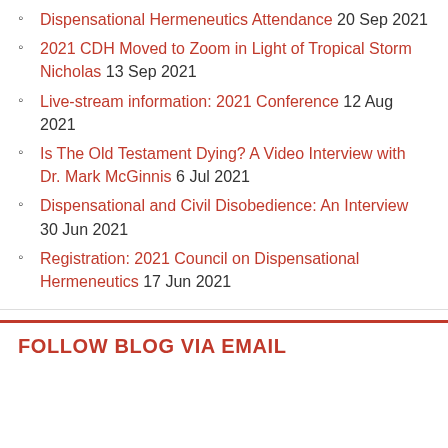Dispensational Hermeneutics Attendance 20 Sep 2021
2021 CDH Moved to Zoom in Light of Tropical Storm Nicholas 13 Sep 2021
Live-stream information: 2021 Conference 12 Aug 2021
Is The Old Testament Dying? A Video Interview with Dr. Mark McGinnis 6 Jul 2021
Dispensational and Civil Disobedience: An Interview 30 Jun 2021
Registration: 2021 Council on Dispensational Hermeneutics 17 Jun 2021
FOLLOW BLOG VIA EMAIL